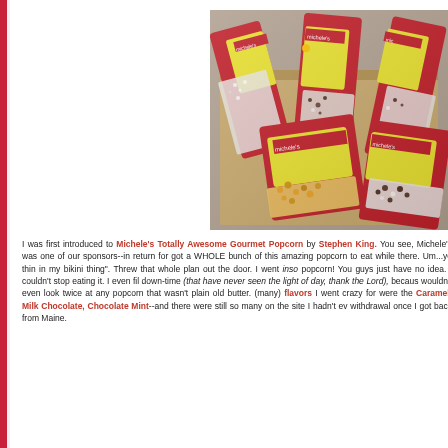[Figure (photo): Photo of multiple red bags of Michele's Totally Awesome Gourmet Popcorn in a cardboard box, with various popcorn varieties visible spilling out]
I was first introduced to Michele's Totally Awesome Gourmet Popcorn by Stephen King. You see, Michele's was one of our sponsors--in return for got a WHOLE bunch of this amazing popcorn to eat while there. Um...ye thin in my bikini thing". Threw that whole plan out the door. I went inso popcorn! You guys just have no idea. I couldn't stop eating it. I even fil down-time (that have never seen the light of day, thank the Lord), becaus wouldn't even look twice at any popcorn that wasn't plain old butter. (many) flavors I went crazy for were the Caramel, Milk Chocolate, Chocolate Mint--and there were still so many on the site I hadn't ev withdrawal once I got back from Maine.